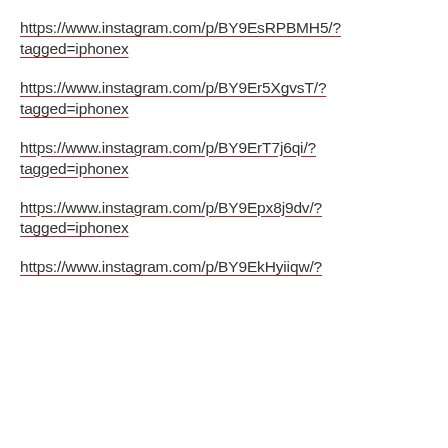https://www.instagram.com/p/BY9EsRPBMH5/?tagged=iphonex
https://www.instagram.com/p/BY9Er5XgvsT/?tagged=iphonex
https://www.instagram.com/p/BY9ErT7j6qi/?tagged=iphonex
https://www.instagram.com/p/BY9Epx8j9dv/?tagged=iphonex
https://www.instagram.com/p/BY9EkHyiiqw/?